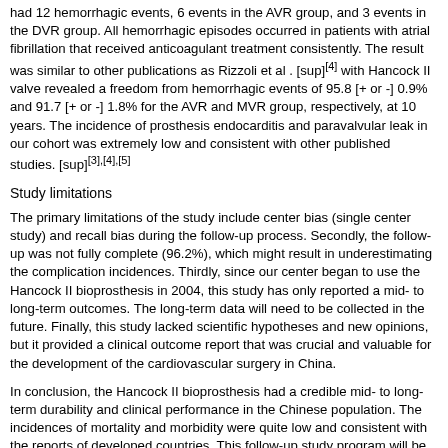had 12 hemorrhagic events, 6 events in the AVR group, and 3 events in the DVR group. All hemorrhagic episodes occurred in patients with atrial fibrillation that received anticoagulant treatment consistently. The result was similar to other publications as Rizzoli et al . [4] with Hancock II valve revealed a freedom from hemorrhagic events of 95.8 [+ or -] 0.9% and 91.7 [+ or -] 1.8% for the AVR and MVR group, respectively, at 10 years. The incidence of prosthesis endocarditis and paravalvular leak in our cohort was extremely low and consistent with other published studies. [3],[4],[5]
Study limitations
The primary limitations of the study include center bias (single center study) and recall bias during the follow-up process. Secondly, the follow-up was not fully complete (96.2%), which might result in underestimating the complication incidences. Thirdly, since our center began to use the Hancock II bioprosthesis in 2004, this study has only reported a mid- to long-term outcomes. The long-term data will need to be collected in the future. Finally, this study lacked scientific hypotheses and new opinions, but it provided a clinical outcome report that was crucial and valuable for the development of the cardiovascular surgery in China.
In conclusion, the Hancock II bioprosthesis had a credible mid- to long-term durability and clinical performance in the Chinese population. The incidences of mortality and morbidity were quite low and consistent with the reports of developed countries. This follow-up study program will be carried on to collect more data. We will evaluate the longer-term durability and performance of the Hancock II bioprosthesis in the Chinese population in the future.